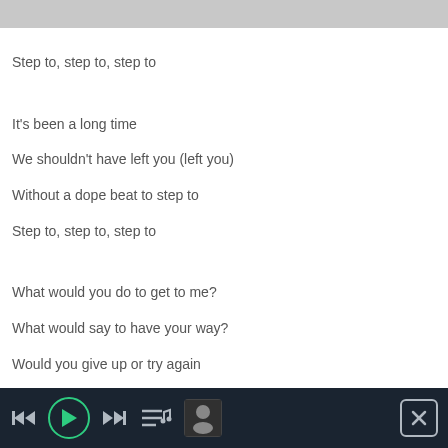Step to, step to, step to
It's been a long time
We shouldn't have left you (left you)
Without a dope beat to step to
Step to, step to, step to
What would you do to get to me?
What would say to have your way?
Would you give up or try again
If I hesitate to let you in?
Now would you be yourself or play a role?
Tell all the boys or keep it low?
If I say no, would you turn away
Or play me off or would you stay, oh
[Figure (other): Music player control bar with rewind, play, fast-forward, queue, album art, and close buttons on a dark background]